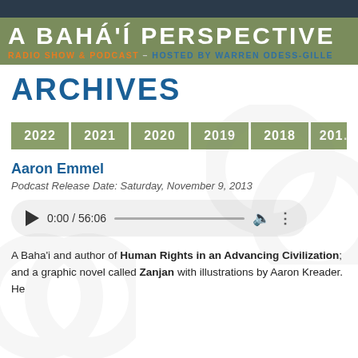A BAHÁ'Í PERSPECTIVE
RADIO SHOW & PODCAST – HOSTED BY WARREN ODESS-GILLE
ARCHIVES
2022 | 2021 | 2020 | 2019 | 2018 | 2017
Aaron Emmel
Podcast Release Date: Saturday, November 9, 2013
0:00 / 56:06
A Baha'i and author of Human Rights in an Advancing Civilization; and a graphic novel called Zanjan with illustrations by Aaron Kreader. He